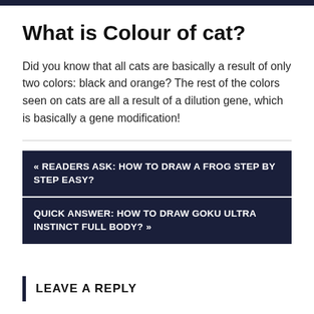What is Colour of cat?
Did you know that all cats are basically a result of only two colors: black and orange? The rest of the colors seen on cats are all a result of a dilution gene, which is basically a gene modification!
« READERS ASK: HOW TO DRAW A FROG STEP BY STEP EASY?
QUICK ANSWER: HOW TO DRAW GOKU ULTRA INSTINCT FULL BODY? »
LEAVE A REPLY